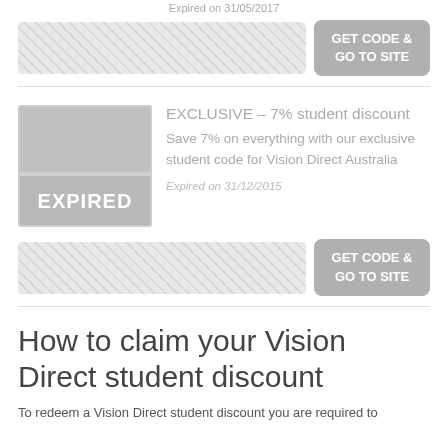Expired on 31/05/2017
[Figure (other): Greyed-out coupon code input bar with crosshatch pattern]
[Figure (other): GET CODE & GO TO SITE button (greyed out)]
[Figure (other): Expired offer thumbnail with EXPIRED label]
EXCLUSIVE – 7% student discount
Save 7% on everything with our exclusive student code for Vision Direct Australia
Expired on 31/12/2015
[Figure (other): Greyed-out coupon code input bar with crosshatch pattern]
[Figure (other): GET CODE & GO TO SITE button (greyed out)]
How to claim your Vision Direct student discount
To redeem a Vision Direct student discount you are required to